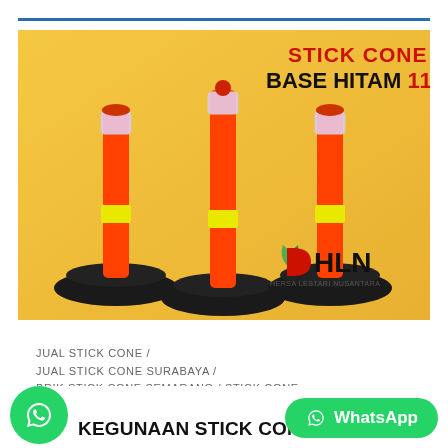[Figure (photo): Product photo of three orange stick cones with black hexagonal bases and yellow reflective bands, with text overlay 'STICK CONE BASE HITAM 115cm' and DHLN brand logo]
JUAL STICK CONE / JUAL STICK CONE SURABAYA / BRIK STICK CONE SEMARANG / STICK CONE
KEGUNAAN STICK CONE
WhatsApp